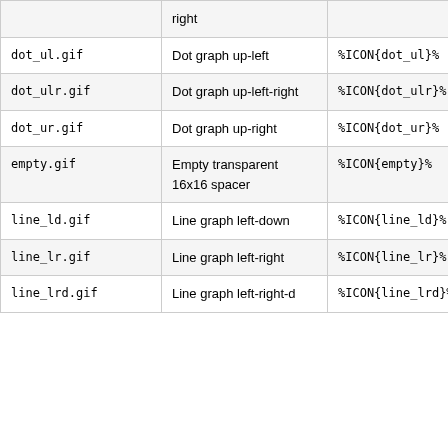| Filename | Description | Macro |
| --- | --- | --- |
|  | right |  |
| dot_ul.gif | Dot graph up-left | %ICON{dot_ul}% |
| dot_ulr.gif | Dot graph up-left-right | %ICON{dot_ulr}% |
| dot_ur.gif | Dot graph up-right | %ICON{dot_ur}% |
| empty.gif | Empty transparent 16x16 spacer | %ICON{empty}% |
| line_ld.gif | Line graph left-down | %ICON{line_ld}% |
| line_lr.gif | Line graph left-right | %ICON{line_lr}% |
| line_lrd.gif | Line graph left-right-d... | %ICON{line_lrd}% |